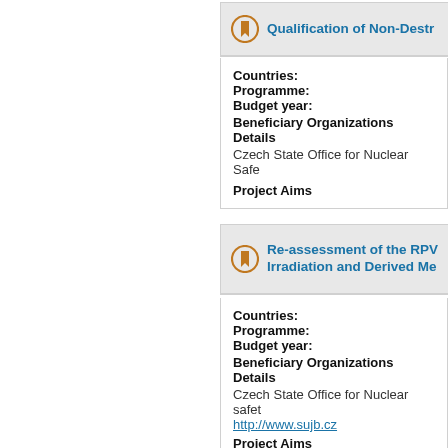Qualification of Non-Destr...
Countries:
Programme:
Budget year:
Beneficiary Organizations Details
Czech State Office for Nuclear Safe...
Project Aims
Re-assessment of the RPV... Irradiation and Derived Me...
Countries:
Programme:
Budget year:
Beneficiary Organizations Details
Czech State Office for Nuclear safet...
http://www.sujb.cz
Project Aims